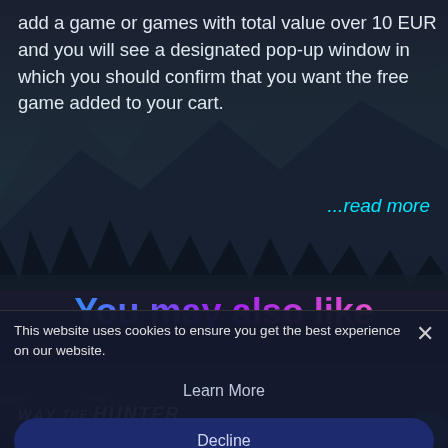add a game or games with total value over 10 EUR and you will see a designated pop-up window in which you should confirm that you want the free game added to your cart.
...read more
You may also like
This website uses cookies to ensure you get the best experience on our website.
Save up to 39%
Learn More
Decline
Allow All
[Figure (screenshot): Game screenshot showing WAY OF THE HUNTER title with hunters in mountain scenery]